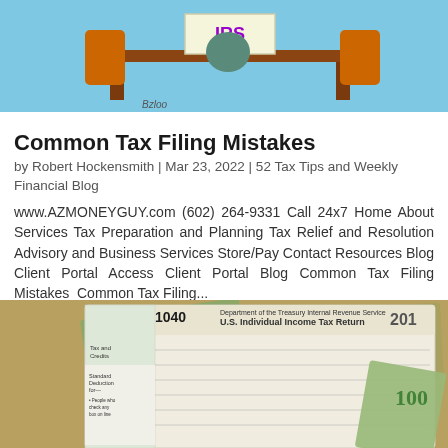[Figure (illustration): Cartoon illustration of a person sitting at a desk with an IRS sign, drawn in a humorous style. Artist signature 'Bzloo' visible at bottom.]
Common Tax Filing Mistakes
by Robert Hockensmith | Mar 23, 2022 | 52 Tax Tips and Weekly Financial Blog
www.AZMONEYGUY.com (602) 264-9331 Call 24x7 Home About Services Tax Preparation and Planning Tax Relief and Resolution Advisory and Business Services Store/Pay Contact Resources Blog Client Portal Access Client Portal Blog Common Tax Filing Mistakes  Common Tax Filing...
[Figure (photo): Photo of IRS Form 1040 U.S. Individual Income Tax Return with US dollar bills scattered around it.]